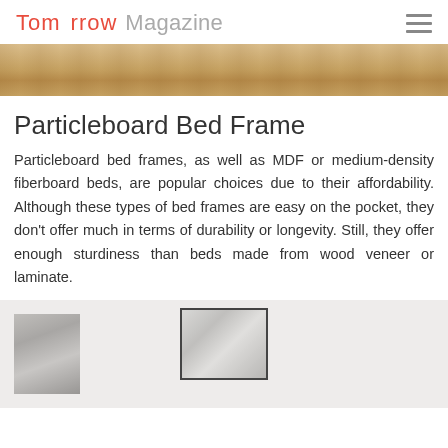Tomorrow Magazine
[Figure (photo): Top portion of a room with wooden flooring, warm tones, partial view of furniture]
Particleboard Bed Frame
Particleboard bed frames, as well as MDF or medium-density fiberboard beds, are popular choices due to their affordability. Although these types of bed frames are easy on the pocket, they don't offer much in terms of durability or longevity. Still, they offer enough sturdiness than beds made from wood veneer or laminate.
[Figure (photo): Bottom portion showing a white bedroom wall with two framed artworks/pictures on the wall]